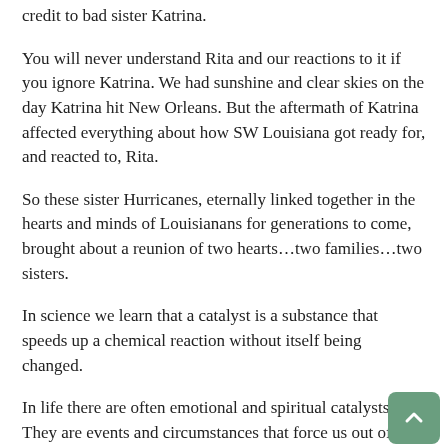credit to bad sister Katrina.
You will never understand Rita and our reactions to it if you ignore Katrina. We had sunshine and clear skies on the day Katrina hit New Orleans. But the aftermath of Katrina affected everything about how SW Louisiana got ready for, and reacted to, Rita.
So these sister Hurricanes, eternally linked together in the hearts and minds of Louisianans for generations to come, brought about a reunion of two hearts…two families…two sisters.
In science we learn that a catalyst is a substance that speeds up a chemical reaction without itself being changed.
In life there are often emotional and spiritual catalysts. They are events and circumstances that force us out of our comfort zones and speed up everything going on in and around us. These speeded up changes can be good or bad.
These hurricanes became the catalyst for a long-awaited reconciliation between these two sisters. They spent the two weeks